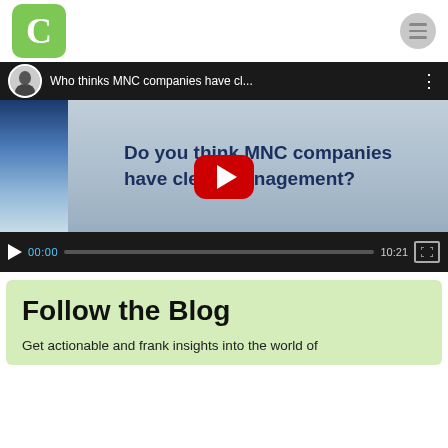[Figure (logo): Green rounded square logo with white letter C]
[Figure (screenshot): YouTube video thumbnail showing 'Who thinks MNC companies have cl...' with play button overlay, video question text 'Do you think MNC companies have clean management?', and video controls showing 00:00 / 10:21]
Follow the Blog
Get actionable and frank insights into the world of